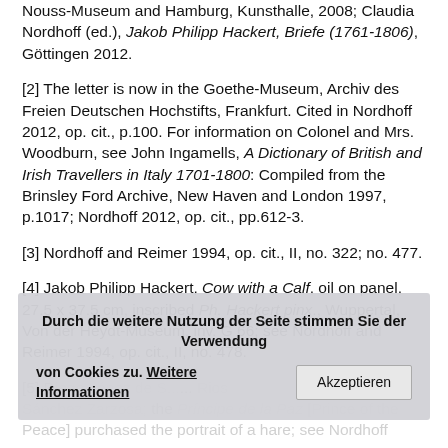Nouss-Museum and Hamburg, Kunsthalle, 2008; Claudia Nordhoff (ed.), Jakob Philipp Hackert, Briefe (1761-1806), Göttingen 2012.
[2] The letter is now in the Goethe-Museum, Archiv des Freien Deutschen Hochstifts, Frankfurt. Cited in Nordhoff 2012, op. cit., p.100. For information on Colonel and Mrs. Woodburn, see John Ingamells, A Dictionary of British and Irish Travellers in Italy 1701-1800: Compiled from the Brinsley Ford Archive, New Haven and London 1997, p.1017; Nordhoff 2012, op. cit., pp.612-3.
[3] Nordhoff and Reimer 1994, op. cit., II, no. 322; no. 477.
[4] Jakob Philipp Hackert, Cow with a Calf, oil on panel, 27.5 x 37.5 cm, inscribed Ph. Hackert pinx., Wuppertal, Von der Heydt-Museum, inv. G 66; see Nordhoff and Reimer 1994, op. cit., II, no. 478.
[5] D... [obscured by cookie banner] ...z d... Rios Sánchez Zarzosa; the Príncipe de la Paz [Prince of the Peace] purchased the portrait of a hare; see Nordhoff
Durch die weitere Nutzung der Seite stimmen Sie der Verwendung von Cookies zu. Weitere Informationen [cookie banner] Akzeptieren